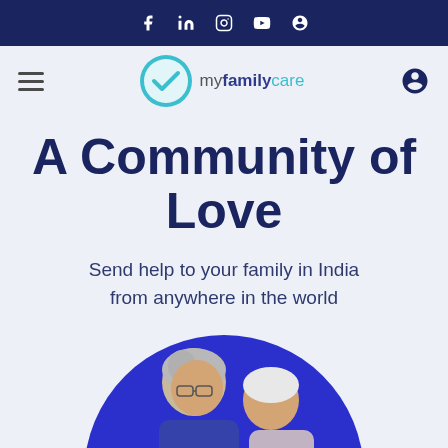f  in  (instagram)  (youtube)  (pinterest)
[Figure (logo): myfamilycare logo with teal checkmark circle and hamburger menu and user icon in navigation bar]
A Community of Love
Send help to your family in India from anywhere in the world
[Figure (photo): Elderly couple inside a blue circle, partially visible at bottom of page]